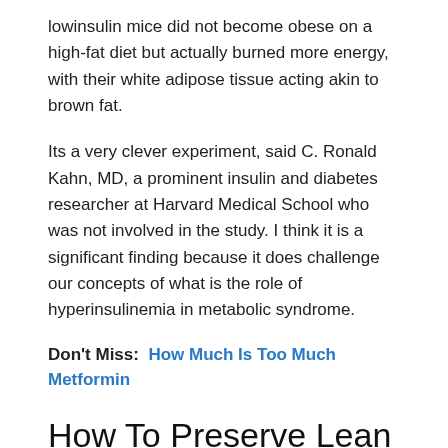lowinsulin mice did not become obese on a high-fat diet but actually burned more energy, with their white adipose tissue acting akin to brown fat.
Its a very clever experiment, said C. Ronald Kahn, MD, a prominent insulin and diabetes researcher at Harvard Medical School who was not involved in the study. I think it is a significant finding because it does challenge our concepts of what is the role of hyperinsulinemia in metabolic syndrome.
Don't Miss:  How Much Is Too Much Metformin
How To Preserve Lean Muscle Mass
Lean muscle mass is important because it burns both fat